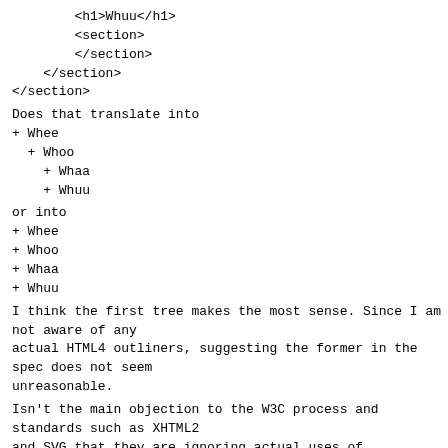<h1>Whuu</h1>
    <section>
    </section>
  </section>
</section>
Does that translate into
+ Whee
  + Whoo
    + Whaa
    + Whuu
or into
+ Whee
+ Whoo
+ Whaa
+ Whuu
I think the first tree makes the most sense. Since I am not aware of any
actual HTML4 outliners, suggesting the former in the spec does not seem
unreasonable.
Isn't the main objection to the W3C process and standards such as XHTML2
and SVG that they are ignoring actual uses of technology in favour of
hypothetical uses? Aren't such outliners hypothetical uses of HTML?